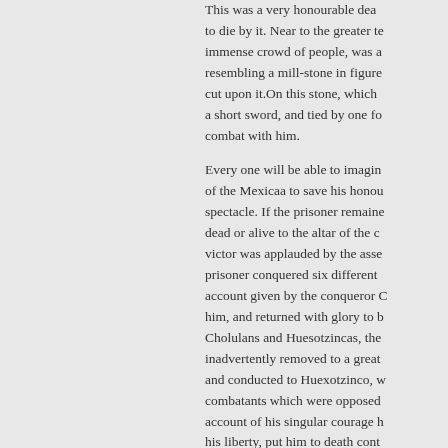This was a very honourable dea to die by it. Near to the greater te immense crowd of people, was a resembling a mill-stone in figure cut upon it.On this stone, which a short sword, and tied by one fo combat with him.
Every one will be able to imagin of the Mexicaa to save his honou spectacle. If the prisoner remaine dead or alive to the altar of the c victor was applauded by the asse prisoner conquered six different account given by the conqueror C him, and returned with glory to b Cholulans and Huesotzincas, the inadvertently removed to a great and conducted to Huexotzinco, w combatants which were opposed account of his singular courage h his liberty, put him to death cont infamous among those nations.
An account of festivals in hon